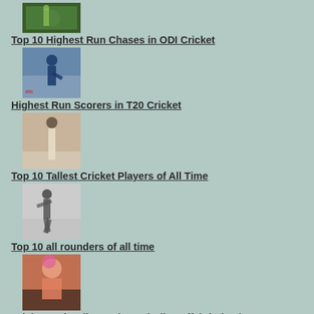[Figure (photo): Cricket player in green uniform]
Top 10 Highest Run Chases in ODI Cricket
[Figure (photo): Cricket batsman in blue uniform playing a shot]
Highest Run Scorers in T20 Cricket
[Figure (photo): Tall cricket player standing on field]
Top 10 Tallest Cricket Players of All Time
[Figure (photo): Black and white photo of cricket all-rounder bowling]
Top 10 all rounders of all time
[Figure (photo): Bollywood actress in traditional attire]
Cricket and Bollywood – A sizzling affair indeed!